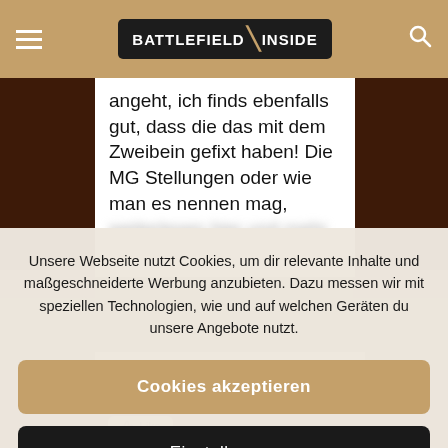BATTLEFIELD | INSIDE
angeht, ich finds ebenfalls gut, dass die das mit dem Zweibein gefixt haben! Die MG Stellungen oder wie man es nennen mag,
Unsere Webseite nutzt Cookies, um dir relevante Inhalte und maßgeschneiderte Werbung anzubieten. Dazu messen wir mit speziellen Technologien, wie und auf welchen Geräten du unsere Angebote nutzt.
Cookies akzeptieren
Einstellungen